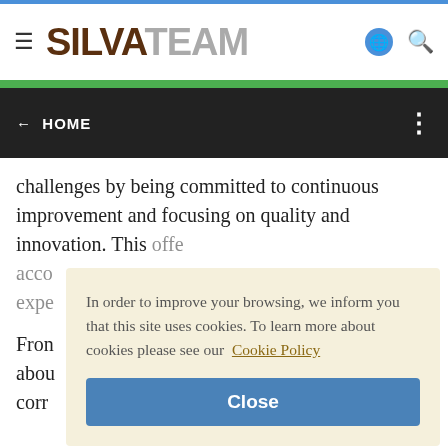SILVATEAM
challenges by being committed to continuous improvement and focusing on quality and innovation. This offers its customers high quality services acco... expe...
Fron... abou... corr...
In order to improve your browsing, we inform you that this site uses cookies. To learn more about cookies please see our Cookie Policy
Close